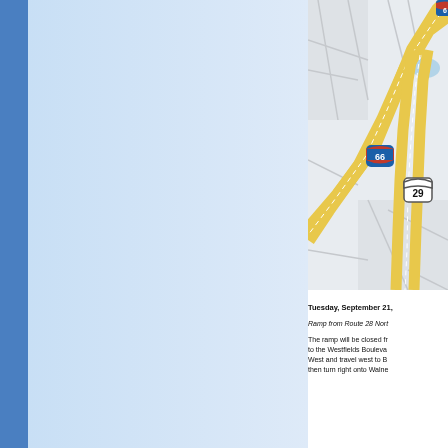[Figure (map): Road map showing Interstate 66 and Route 29 interchange near Westfields Boulevard area. Map shows yellow highway lanes for I-66 and Route 29, gray road network, and blue water feature in upper right.]
Tuesday, September 21, Ramp from Route 28 Nort The ramp will be closed fr to the Westfields Boulevar West and travel west to B then turn right onto Walne